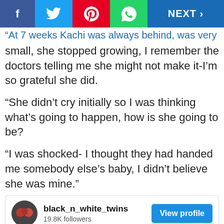Social share bar with Facebook, Twitter, Pinterest, WhatsApp, NEXT buttons
“At 7 weeks Kachi was always behind, was very small, she stopped growing, I remember the doctors telling me she might not make it-I’m so grateful she did.
“She didn’t cry initially so I was thinking what’s going to happen, how is she going to be?
“I was shocked- I thought they had handed me somebody else’s baby, I didn’t believe she was mine.”
[Figure (infographic): Instagram profile card for black_n_white_twins with 19.8K followers and a View profile button]
[Figure (photo): Two children wearing hats against a pink background]